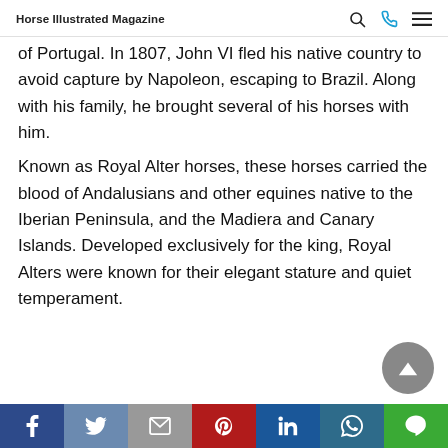Horse Illustrated Magazine
of Portugal. In 1807, John VI fled his native country to avoid capture by Napoleon, escaping to Brazil. Along with his family, he brought several of his horses with him.
Known as Royal Alter horses, these horses carried the blood of Andalusians and other equines native to the Iberian Peninsula, and the Madiera and Canary Islands. Developed exclusively for the king, Royal Alters were known for their elegant stature and quiet temperament.